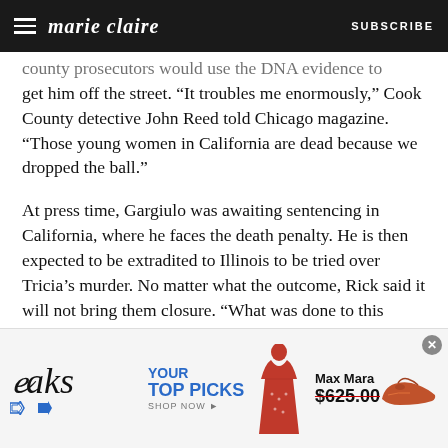marie claire | SUBSCRIBE
county prosecutors would use the DNA evidence to get him off the street. “It troubles me enormously,” Cook County detective John Reed told Chicago magazine. “Those young women in California are dead because we dropped the ball.”
At press time, Gargiulo was awaiting sentencing in California, where he faces the death penalty. He is then expected to be extradited to Illinois to be tried over Tricia’s murder. No matter what the outcome, Rick said it will not bring them closure. “What was done to this family can’t be erased,” he told Chicago. “That will stay with me until I die.”
Tricia’s loss is also a constant fixture in Karen Jan—
[Figure (screenshot): Saks Fifth Avenue advertisement showing: Saks logo, YOUR TOP PICKS SHOP NOW, a red dress image, Max Mara brand, $625.00 price, and a shoe image]